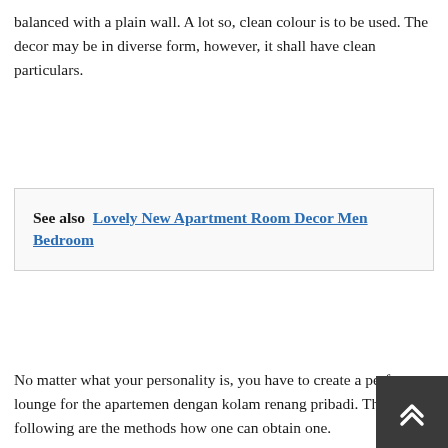balanced with a plain wall. A lot so, clean colour is to be used. The decor may be in diverse form, however, it shall have clean particulars.
See also  Lovely New Apartment Room Decor Men Bedroom
No matter what your personality is, you have to create a perfect lounge for the apartemen dengan kolam renang pribadi. The following are the methods how one can obtain one.